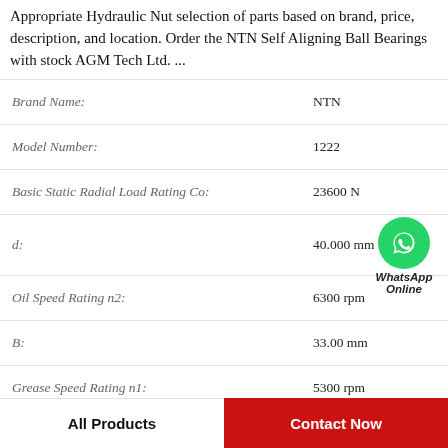Appropriate Hydraulic Nut selection of parts based on brand, price, description, and location. Order the NTN Self Aligning Ball Bearings with stock AGM Tech Ltd. ...
| Property | Value |
| --- | --- |
| Brand Name: | NTN |
| Model Number: | 1222 |
| Basic Static Radial Load Rating Co: | 23600 N |
| d: | 40.000 mm |
| Oil Speed Rating n2: | 6300 rpm |
| B: | 33.00 mm |
| Grease Speed Rating n1: | 5300 rpm |
| Basic Dynamic Radial Load Rating C: | 76100 N |
[Figure (logo): WhatsApp Online green circle icon with phone handset, with text 'WhatsApp Online' below]
All Products
Contact Now